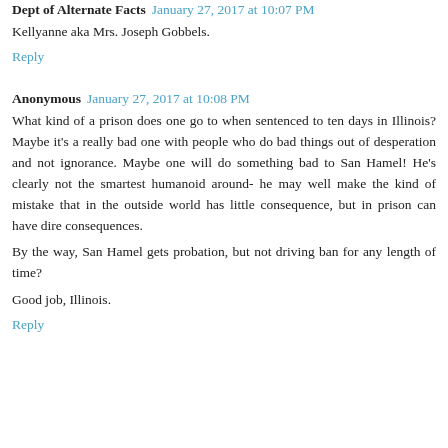Dept of Alternate Facts January 27, 2017 at 10:07 PM
Kellyanne aka Mrs. Joseph Gobbels.
Reply
Anonymous January 27, 2017 at 10:08 PM
What kind of a prison does one go to when sentenced to ten days in Illinois? Maybe it's a really bad one with people who do bad things out of desperation and not ignorance. Maybe one will do something bad to San Hamel! He's clearly not the smartest humanoid around- he may well make the kind of mistake that in the outside world has little consequence, but in prison can have dire consequences.
By the way, San Hamel gets probation, but not driving ban for any length of time?
Good job, Illinois.
Reply